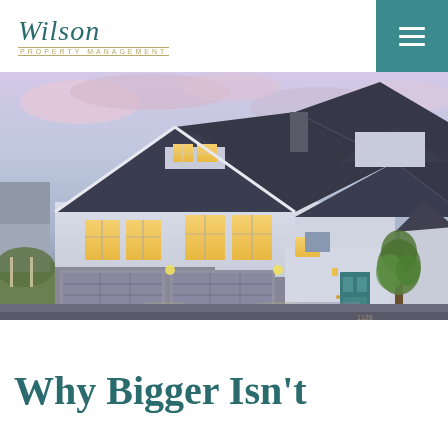Wilson Property Management
[Figure (photo): Exterior photo of a large two-story craftsman-style house at dusk with illuminated windows, dark blue/grey roof, three-car garage, teal front door, and a young tree on the right side of the driveway.]
Why Bigger Isn't